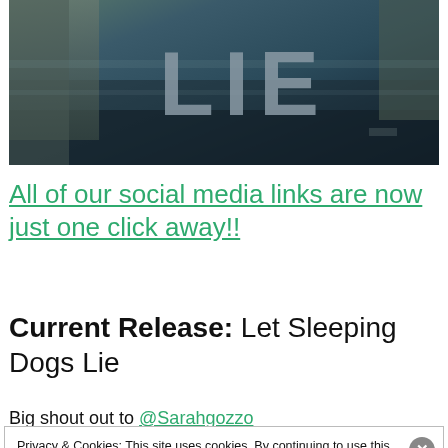[Figure (photo): Dark atmospheric movie poster banner showing text LIE in large grey letters, with dark water/nature background]
All of our social media links are now just one click away!!
Current Release: Let Sleeping Dogs Lie
Big shout out to @Sarahgozzo
Privacy & Cookies: This site uses cookies. By continuing to use this website, you agree to their use. To find out more, including how to control cookies, see here: Cookie Policy
Close and accept